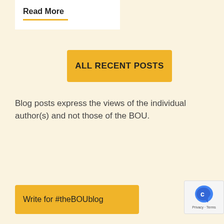Read More
ALL RECENT POSTS
Blog posts express the views of the individual author(s) and not those of the BOU.
Write for #theBOUblog
[Figure (logo): reCAPTCHA badge with robot icon and Privacy · Terms text]